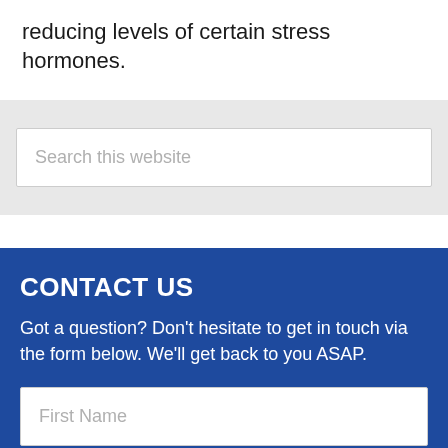reducing levels of certain stress hormones.
[Figure (screenshot): Search input field with placeholder text 'Search this website' on a light grey background]
CONTACT US
Got a question? Don't hesitate to get in touch via the form below. We'll get back to you ASAP.
[Figure (screenshot): Form input field with placeholder text 'First Name' on a dark blue background]